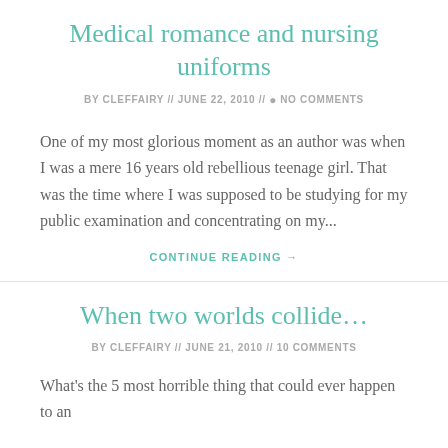Medical romance and nursing uniforms
BY CLEFFAIRY // JUNE 22, 2010 // ● NO COMMENTS
One of my most glorious moment as an author was when I was a mere 16 years old rebellious teenage girl. That was the time where I was supposed to be studying for my public examination and concentrating on my...
CONTINUE READING →
When two worlds collide…
BY CLEFFAIRY // JUNE 21, 2010 // ● 10 COMMENTS
What's the 5 most horrible thing that could ever happen to an